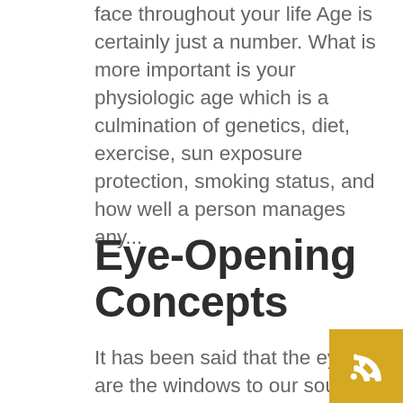face throughout your life Age is certainly just a number. What is more important is your physiologic age which is a culmination of genetics, diet, exercise, sun exposure protection, smoking status, and how well a person manages any...
Eye-Opening Concepts
It has been said that the eyes are the windows to our souls. Certainly we often remember our friends and love-ones faces with the eyes playing